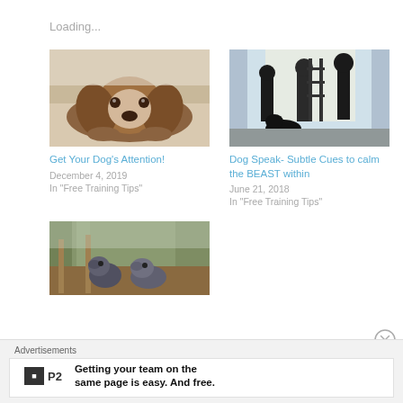Loading...
[Figure (photo): A Cavalier King Charles Spaniel dog resting its chin on the floor, looking up with sad eyes]
Get Your Dog's Attention!
December 4, 2019
In "Free Training Tips"
[Figure (photo): Silhouette of people with a dog being trained, backlit scene]
Dog Speak- Subtle Cues to calm the BEAST within
June 21, 2018
In "Free Training Tips"
[Figure (photo): Two gray dogs standing in a wooded area]
Advertisements
Getting your team on the same page is easy. And free.